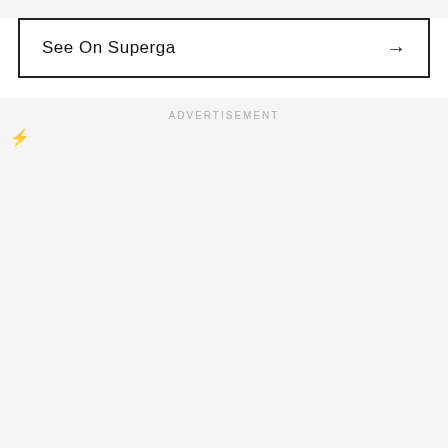See On Superga →
ADVERTISEMENT